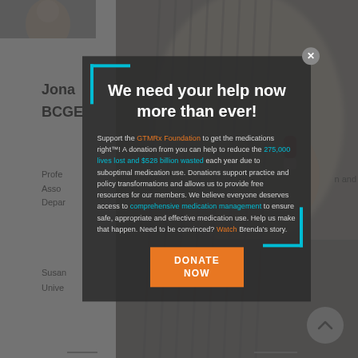[Figure (screenshot): Background webpage showing a medical professional profile page (Jonathan, BCGE), partially visible behind a modal dialog. Left side shows white page content with name, titles, and grey section. Right side shows blurred background photo of a person holding a red/white capsule pill.]
We need your help now more than ever!
Support the GTMRx Foundation to get the medications right™! A donation from you can help to reduce the 275,000 lives lost and $528 billion wasted each year due to suboptimal medication use. Donations support practice and policy transformations and allows us to provide free resources for our members. We believe everyone deserves access to comprehensive medication management to ensure safe, appropriate and effective medication use. Help us make that happen. Need to be convinced? Watch Brenda's story.
DONATE NOW